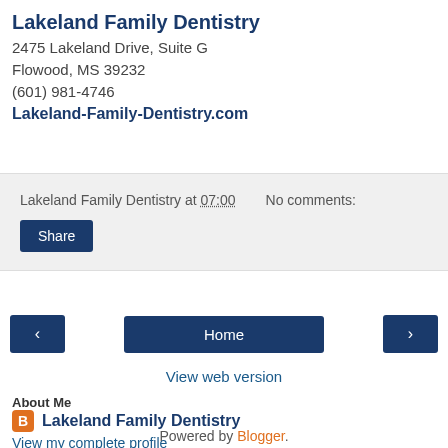Lakeland Family Dentistry
2475 Lakeland Drive, Suite G
Flowood, MS 39232
(601) 981-4746
Lakeland-Family-Dentistry.com
Lakeland Family Dentistry at 07:00   No comments:
Share
‹   Home   ›
View web version
About Me
Lakeland Family Dentistry
View my complete profile
Powered by Blogger.